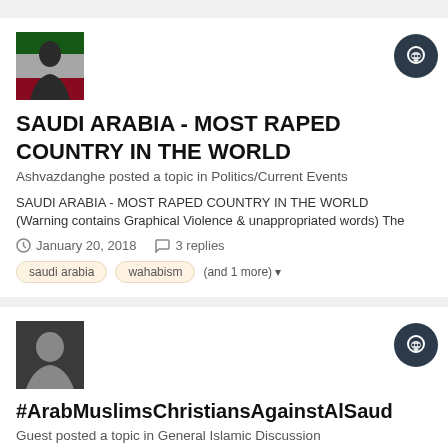[Figure (photo): User avatar showing a military figure with Iranian flag]
SAUDI ARABIA - MOST RAPED COUNTRY IN THE WORLD
Ashvazdanghe posted a topic in Politics/Current Events
SAUDI ARABIA - MOST RAPED COUNTRY IN THE WORLD
(Warning contains Graphical Violence & unappropriated words) The
January 20, 2018   3 replies
saudi arabia   wahabism   (and 1 more)
[Figure (illustration): Generic user silhouette avatar on dark background]
#ArabMuslimsChristiansAgainstAlSaud
Guest posted a topic in General Islamic Discussion